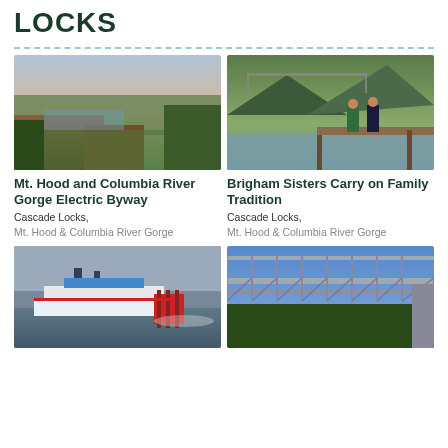LOCKS
[Figure (photo): Aerial view of Columbia River Gorge with orange cliffs and misty mountains]
[Figure (photo): Two people standing on a dock near a bridge over a river]
Mt. Hood and Columbia River Gorge Electric Byway
Cascade Locks,
Mt. Hood & Columbia River Gorge
Brigham Sisters Carry on Family Tradition
Cascade Locks,
Mt. Hood & Columbia River Gorge
[Figure (photo): Red paddlewheel boat on a river in overcast weather]
[Figure (photo): Steel truss bridge over a forested gorge under blue sky]